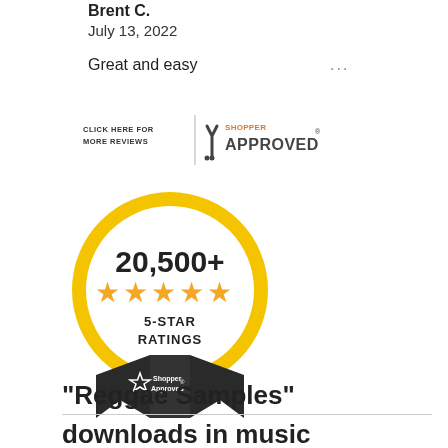Brent C.
July 13, 2022
Great and easy
[Figure (logo): Shopper Approved banner with text CLICK HERE FOR MORE REVIEWS and the Shopper Approved checkmark logo]
[Figure (logo): Shopper Approved award badge showing 20,500+ 5-STAR RATINGS with gold stars and black ribbon]
"Reggae Samples" downloads in music